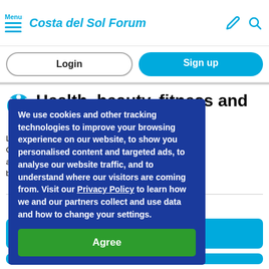Menu — Costa del Sol Forum
Login
Sign up
Health, beauty, fitness and sport
Looking ... Costa ... Sol about ... beauty ...
We use cookies and other tracking technologies to improve your browsing experience on our website, to show you personalised content and targeted ads, to analyse our website traffic, and to understand where our visitors are coming from. Visit our Privacy Policy to learn how we and our partners collect and use data and how to change your settings.
Agree
Post a new topic